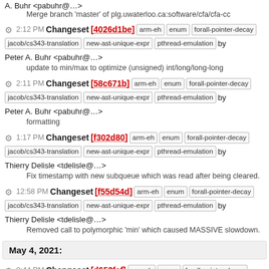A. Buhr <pabuhr@...>
Merge branch 'master' of plg.uwaterloo.ca:software/cfa/cfa-cc
2:12 PM Changeset [4026d1be] arm-eh enum forall-pointer-decay jacob/cs343-translation new-ast-unique-expr pthread-emulation by Peter A. Buhr <pabuhr@...>
update to min/max to optimize (unsigned) int/long/long-long
2:11 PM Changeset [58c671b] arm-eh enum forall-pointer-decay jacob/cs343-translation new-ast-unique-expr pthread-emulation by Peter A. Buhr <pabuhr@...>
formatting
1:17 PM Changeset [f302d80] arm-eh enum forall-pointer-decay jacob/cs343-translation new-ast-unique-expr pthread-emulation by Thierry Delisle <tdelisle@...>
Fix timestamp with new subqueue which was read after being cleared.
12:58 PM Changeset [f55d54d] arm-eh enum forall-pointer-decay jacob/cs343-translation new-ast-unique-expr pthread-emulation by Thierry Delisle <tdelisle@...>
Removed call to polymorphic 'min' which caused MASSIVE slowdown.
May 4, 2021:
8:44 PM Changeset [d653faf] arm-eh enum forall-pointer-decay jacob/cs343-translation new-ast-unique-expr pthread-emulation by Michael Brooks <mlbrooks@...>